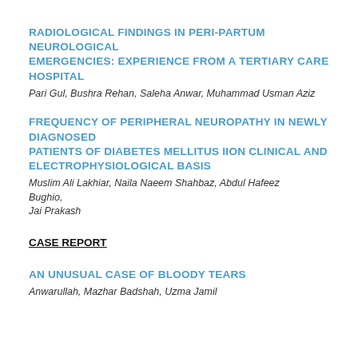RADIOLOGICAL FINDINGS IN PERI-PARTUM NEUROLOGICAL EMERGENCIES: EXPERIENCE FROM A TERTIARY CARE HOSPITAL
Pari Gul, Bushra Rehan, Saleha Anwar, Muhammad Usman Aziz
FREQUENCY OF PERIPHERAL NEUROPATHY IN NEWLY DIAGNOSED PATIENTS OF DIABETES MELLITUS IION CLINICAL AND ELECTROPHYSIOLOGICAL BASIS
Muslim Ali Lakhiar, Naila Naeem Shahbaz, Abdul Hafeez Bughio, Jai Prakash
CASE REPORT
AN UNUSUAL CASE OF BLOODY TEARS
Anwarullah, Mazhar Badshah, Uzma Jamil